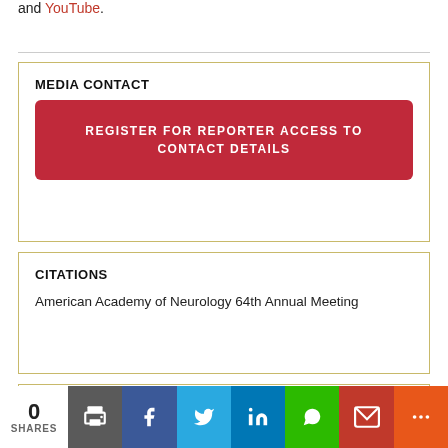and YouTube.
MEDIA CONTACT
REGISTER FOR REPORTER ACCESS TO CONTACT DETAILS
CITATIONS
American Academy of Neurology 64th Annual Meeting
Type of Article
Research Results